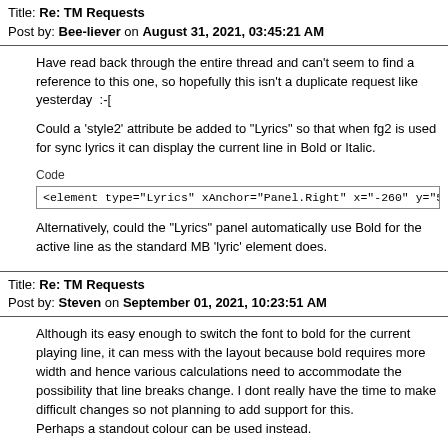Title: Re: TM Requests
Post by: Bee-liever on August 31, 2021, 03:45:21 AM
Have read back through the entire thread and can't seem to find a reference to this one, so hopefully this isn't a duplicate request like yesterday  :-[
Could a 'style2' attribute be added to "Lyrics" so that when fg2 is used for sync lyrics it can display the current line in Bold or Italic.
Code
<element type="Lyrics" xAnchor="Panel.Right" x="-260" y="55" width=".
Alternatively, could the "Lyrics" panel automatically use Bold for the active line as the standard MB 'lyric' element does.
Title: Re: TM Requests
Post by: Steven on September 01, 2021, 10:23:51 AM
Although its easy enough to switch the font to bold for the current playing line, it can mess with the layout because bold requires more width and hence various calculations need to accommodate the possibility that line breaks change. I dont really have the time to make difficult changes so not planning to add support for this.
Perhaps a standout colour can be used instead.